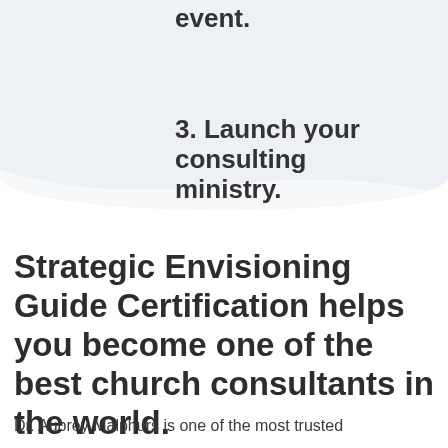2. Attend the training event.
3. Launch your consulting ministry.
Strategic Envisioning Guide Certification helps you become one of the best church consultants in the world.
Dr. Aubrey Malphurs is one of the most trusted